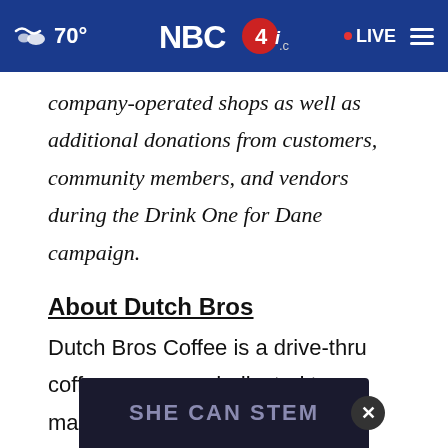70° NBC4i.com LIVE
company-operated shops as well as additional donations from customers, community members, and vendors during the Drink One for Dane campaign.
About Dutch Bros
Dutch Bros Coffee is a drive-thru coffee company dedicated to making a massive difference one cup at a time. Headquartered in Grants Pass, Oregon and Travis Boersma, it's now sharing the "Dutch
[Figure (screenshot): SHE CAN STEM advertisement overlay banner at the bottom of the page with a close (X) button]